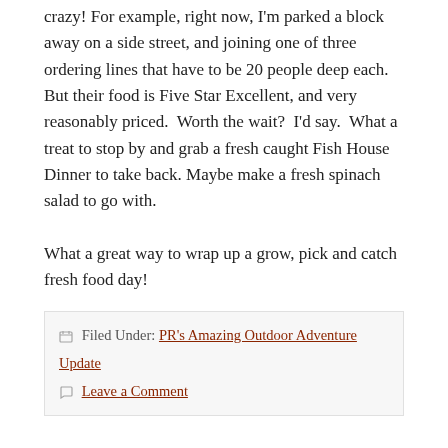crazy! For example, right now, I'm parked a block away on a side street, and joining one of three ordering lines that have to be 20 people deep each.  But their food is Five Star Excellent, and very reasonably priced.  Worth the wait?  I'd say.  What a treat to stop by and grab a fresh caught Fish House Dinner to take back. Maybe make a fresh spinach salad to go with.
What a great way to wrap up a grow, pick and catch fresh food day!
Filed Under: PR's Amazing Outdoor Adventure Update
Leave a Comment
My Oh My, Myakka
June 19, 2013   Leave a Comment